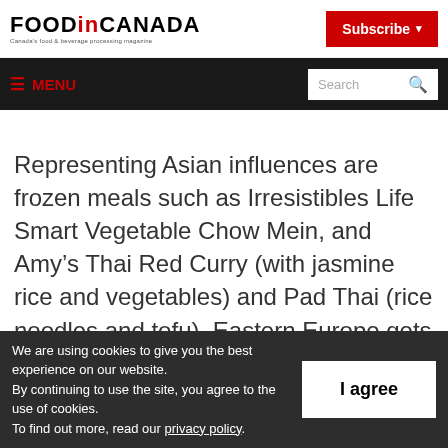FOOD in CANADA — Canada's food & beverage processing magazine
Subscribe ▾
≡ MENU  Search 🔍
Representing Asian influences are frozen meals such as Irresistibles Life Smart Vegetable Chow Mein, and Amy's Thai Red Curry (with jasmine rice and vegetables) and Pad Thai (rice noodles and tofu). Eastern Europe gets its due with Cheemo
We are using cookies to give you the best experience on our website.
By continuing to use the site, you agree to the use of cookies.
To find out more, read our privacy policy.